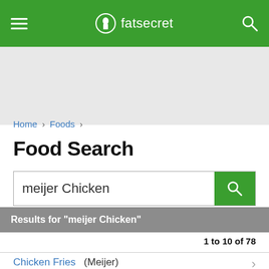fatsecret
Home › Foods ›
Food Search
meijer Chicken
Results for "meijer Chicken"
1 to 10 of 78
Chicken Fries (Meijer)
Per 7 pieces - Calories: 230kcal | Fat: 13.00g | Carbs: 14.00g | Protein:...
Similar